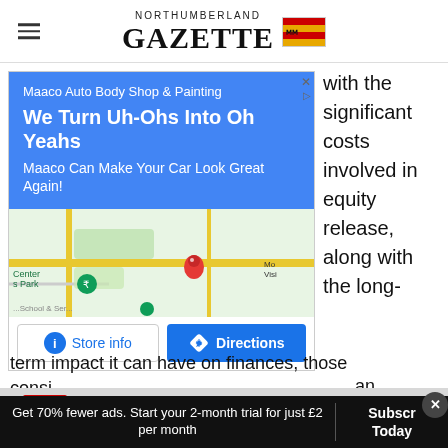Northumberland Gazette
[Figure (screenshot): Maaco Auto Body Shop & Painting advertisement with Google Maps embed showing store location, Store info and Directions buttons]
with the significant costs involved in equity release, along with the long-term impact it can have on finances, those consi... an
[Figure (screenshot): Office Depot ad: Earn 30% Back In Rewards Today]
Get 70% fewer ads. Start your 2-month trial for just £2 per month
Subscribe Today